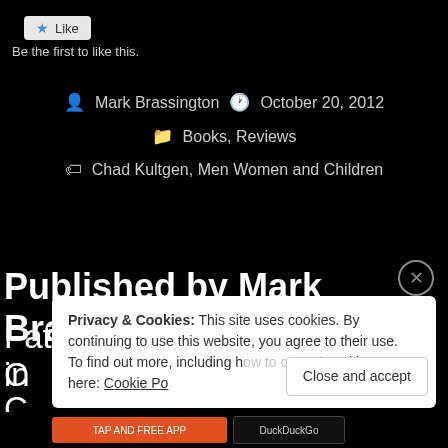[Figure (screenshot): Like button with star icon]
Be the first to like this.
Mark Brassington · October 20, 2012
Books, Reviews
Chad Kultgen, Men Women and Children
Published by Mark Brassington
Father and Husband. Works in C...
Privacy & Cookies: This site uses cookies. By continuing to use this website, you agree to their use. To find out more, including how to control cookies, see here: Cookie Policy
Close and accept